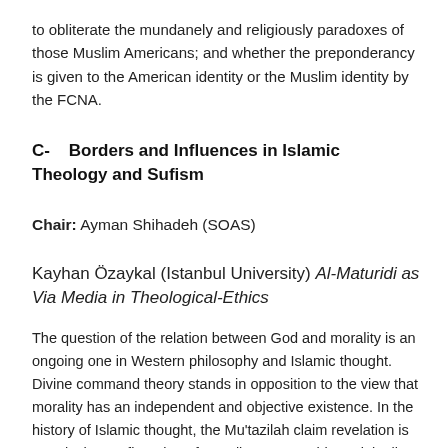to obliterate the mundanely and religiously paradoxes of those Muslim Americans; and whether the preponderancy is given to the American identity or the Muslim identity by the FCNA.
C-   Borders and Influences in Islamic Theology and Sufism
Chair: Ayman Shihadeh (SOAS)
Kayhan Özaykal (Istanbul University) Al-Maturidi as Via Media in Theological-Ethics
The question of the relation between God and morality is an ongoing one in Western philosophy and Islamic thought. Divine command theory stands in opposition to the view that morality has an independent and objective existence. In the history of Islamic thought, the Mu'tazilah claim revelation is merely the confirmation of morality as something originally determined by reason, while the Ash'ariyyah take revelation to constitute morality itself. Al-